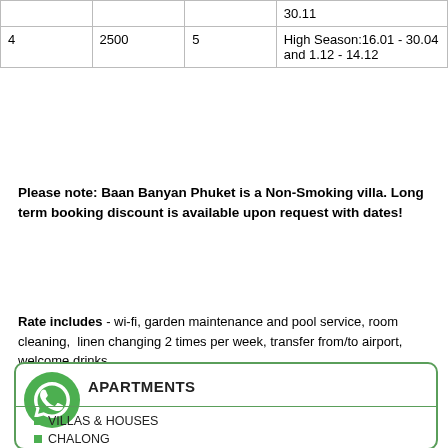|  |  |  |  |
| --- | --- | --- | --- |
|  |  |  | 30.11 |
| 4 | 2500 | 5 | High Season:16.01 - 30.04 and 1.12 - 14.12 |
Please note: Baan Banyan Phuket is a Non-Smoking villa. Long term booking discount is available upon request with dates!
Rate includes - wi-fi, garden maintenance and pool service, room cleaning,  linen changing 2 times per week, transfer from/to airport, welcome drinks.
Guests love it because: location, design, bright rooms, panoramic swimming pool, possibilty to have vacation with a big company/
APARTMENTS
VILLAS & HOUSES
CHALONG